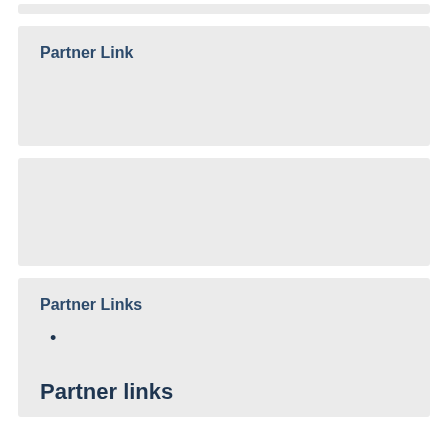Partner Link
Partner Links
Partner links